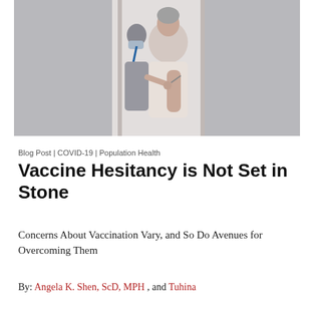[Figure (photo): A healthcare worker wearing a mask and blue lanyard administering a vaccine or medical procedure to an elderly patient in a white garment, against a light background.]
Blog Post | COVID-19 | Population Health
Vaccine Hesitancy is Not Set in Stone
Concerns About Vaccination Vary, and So Do Avenues for Overcoming Them
By: Angela K. Shen, ScD, MPH , and Tuhina